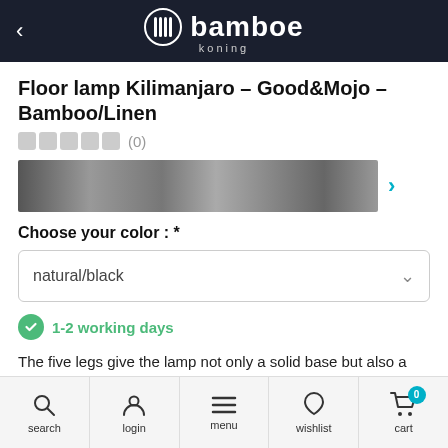bamboe koning
Floor lamp Kilimanjaro – Good&Mojo – Bamboo/Linen
(0)
[Figure (photo): Horizontal image strip showing product photos of the floor lamp]
Choose your color : *
natural/black
1-2 working days
The five legs give the lamp not only a solid base but also a unique look. The sleek and modern design. The Kilimanjaro floor lamp fits within different living styles and will therefore not get bored quickly!
search  login  menu  wishlist  cart